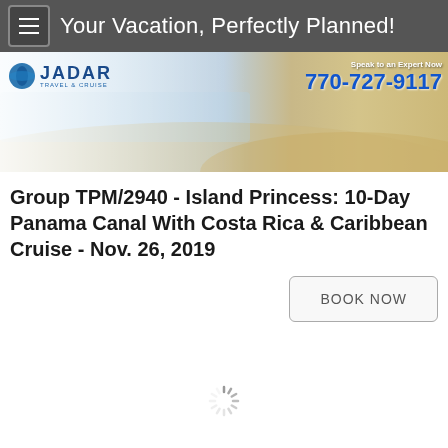Your Vacation, Perfectly Planned!
[Figure (photo): Jadar Travel & Cruise banner with beach background. Logo top-left with blue JADAR text. Phone number 770-727-9117 top-right with 'Speak to an Expert Now' text.]
Group TPM/2940 - Island Princess: 10-Day Panama Canal With Costa Rica & Caribbean Cruise - Nov. 26, 2019
BOOK NOW
[Figure (other): Loading spinner icon]